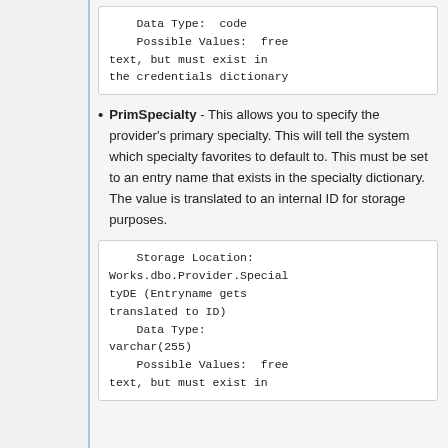Data Type:  code
    Possible Values:  free text, but must exist in the credentials dictionary
PrimSpecialty - This allows you to specify the provider's primary specialty. This will tell the system which specialty favorites to default to. This must be set to an entry name that exists in the specialty dictionary. The value is translated to an internal ID for storage purposes.
Storage Location: Works.dbo.Provider.SpecialtyDE (Entryname gets translated to ID)
    Data Type: varchar(255)
    Possible Values:  free text, but must exist in